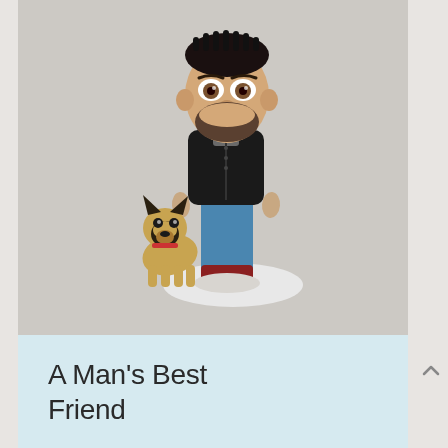[Figure (photo): A hand-crafted clay figurine of a man with dark hair, beard, wearing a black jacket, blue pants, and red shoes, standing on a white base next to a small German Shepherd dog figurine. Background is a light grey-beige.]
A Man's Best Friend